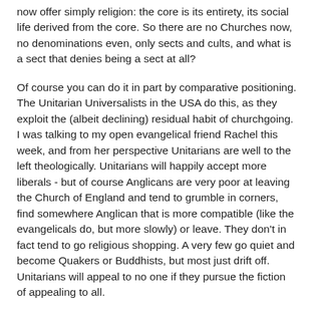now offer simply religion: the core is its entirety, its social life derived from the core. So there are no Churches now, no denominations even, only sects and cults, and what is a sect that denies being a sect at all?
Of course you can do it in part by comparative positioning. The Unitarian Universalists in the USA do this, as they exploit the (albeit declining) residual habit of churchgoing. I was talking to my open evangelical friend Rachel this week, and from her perspective Unitarians are well to the left theologically. Unitarians will happily accept more liberals - but of course Anglicans are very poor at leaving the Church of England and tend to grumble in corners, find somewhere Anglican that is more compatible (like the evangelicals do, but more slowly) or leave. They don't in fact tend to go religious shopping. A very few go quiet and become Quakers or Buddhists, but most just drift off. Unitarians will appeal to no one if they pursue the fiction of appealing to all.
Even accepting comparative positioning, Unitarians will not then make progress by focussing on what doesn't trouble others. The denominationalist habit is to criticise other